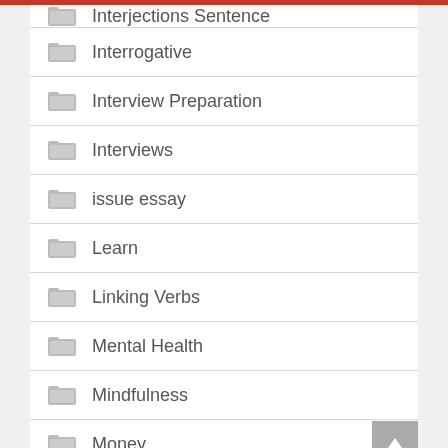Interjections Sentence
Interrogative
Interview Preparation
Interviews
issue essay
Learn
Linking Verbs
Mental Health
Mindfulness
Money
Motivation